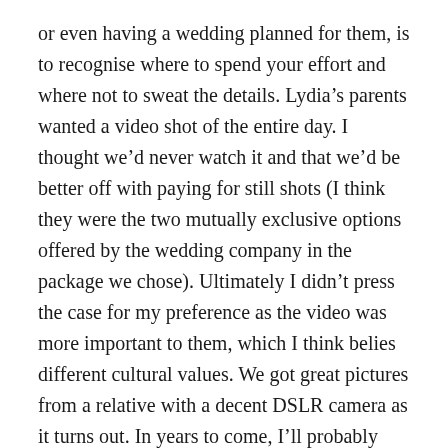or even having a wedding planned for them, is to recognise where to spend your effort and where not to sweat the details. Lydia's parents wanted a video shot of the entire day. I thought we'd never watch it and that we'd be better off with paying for still shots (I think they were the two mutually exclusive options offered by the wedding company in the package we chose). Ultimately I didn't press the case for my preference as the video was more important to them, which I think belies different cultural values. We got great pictures from a relative with a decent DSLR camera as it turns out. In years to come, I'll probably find I was wrong on the value of the video anyway.
Further, it was liberating to realise the details I would have been fretting over in Australia or New Zealand were (at best) trivial in China. For example, we had juice